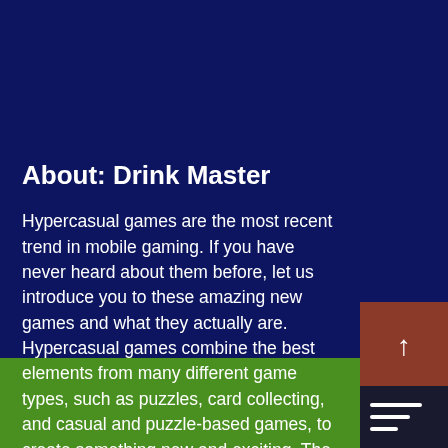About: Drink Master
Hypercasual games are the most recent trend in mobile gaming. If you have never heard about them before, let us introduce you to these amazing new games and what they actually are. Hypercasual games combine the best elements from many different game types, such as puzzles, card collecting, and casual and puzzle-based games, to create something new and exciting. The result is a game that is easy to pick up and play but at the same time offers a challenge with